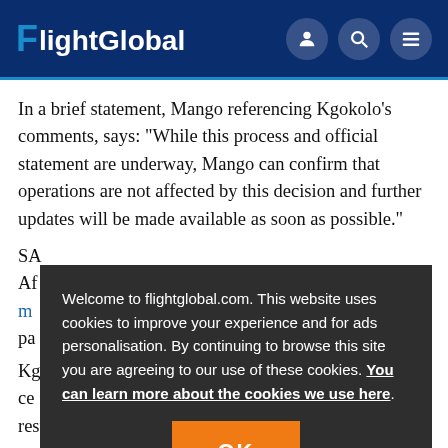FlightGlobal
In a brief statement, Mango referencing Kgokolo’s comments, says: “While this process and official statement are underway, Mango can confirm that operations are not affected by this decision and further updates will be made available as soon as possible.”
SA...Af...m...pa...
Welcome to flightglobal.com. This website uses cookies to improve your experience and for ads personalisation. By continuing to browse this site you are agreeing to our use of these cookies. You can learn more about the cookies we use here.
Kg...ce...resuming flights.